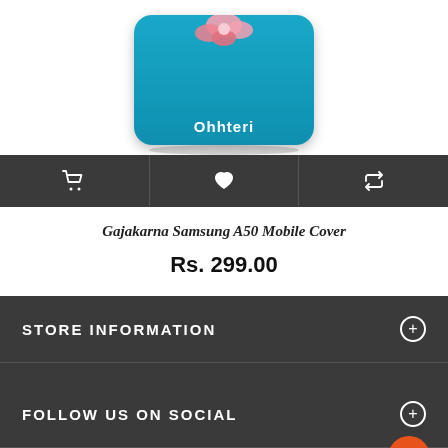[Figure (photo): Product photo of a Samsung A50 mobile cover with blue background and pink flower design, branded 'Ohhteri']
[Figure (other): Action bar with cart icon, heart/wishlist icon, and share/repost icon on dark background]
Gajakarna Samsung A50 Mobile Cover
Rs. 299.00
STORE INFORMATION
FOLLOW US ON SOCIAL
We are now on social network. Connect with us to update the latest news and...